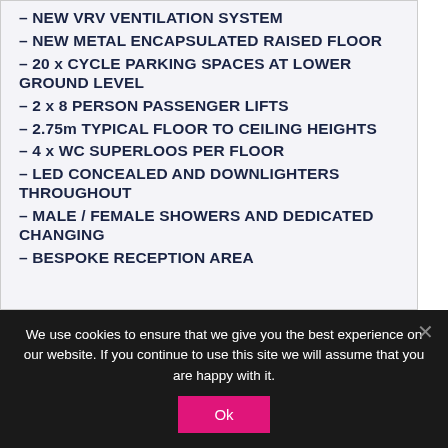– NEW VRV VENTILATION SYSTEM
– NEW METAL ENCAPSULATED RAISED FLOOR
– 20 x CYCLE PARKING SPACES AT LOWER GROUND LEVEL
– 2 x 8 PERSON PASSENGER LIFTS
– 2.75m TYPICAL FLOOR TO CEILING HEIGHTS
– 4 x WC SUPERLOOS PER FLOOR
– LED CONCEALED AND DOWNLIGHTERS THROUGHOUT
– MALE / FEMALE SHOWERS AND DEDICATED CHANGING
– BESPOKE RECEPTION AREA
We use cookies to ensure that we give you the best experience on our website. If you continue to use this site we will assume that you are happy with it.
Ok